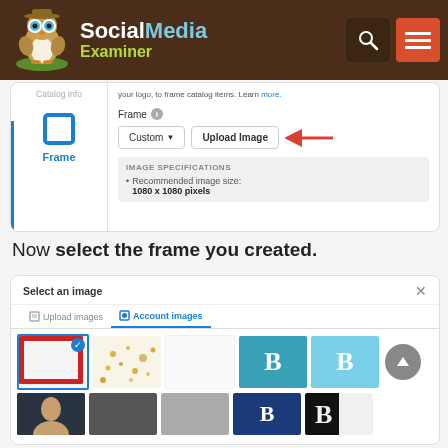[Figure (screenshot): Social Media Examiner website header with logo (owl mascot), site name, search icon, and hamburger menu icon on dark brown background]
[Figure (screenshot): Facebook catalog Frame upload interface showing Catalog Info sidebar with Frame selected, Custom dropdown, Upload Image button with red arrow pointing to it, and IMAGE SPECIFICATIONS panel showing recommended image size 1080 x 1080 pixels]
Now select the frame you created.
[Figure (screenshot): Select an image dialog with Upload images and Account images tabs, showing a grid of image thumbnails with first one selected (red frame), and a scroll-up button]